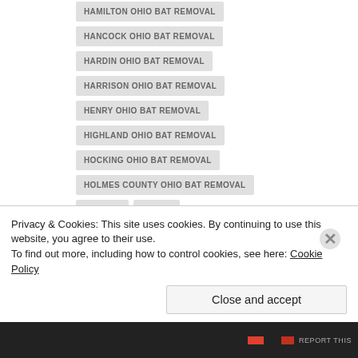HAMILTON OHIO BAT REMOVAL
HANCOCK OHIO BAT REMOVAL
HARDIN OHIO BAT REMOVAL
HARRISON OHIO BAT REMOVAL
HENRY OHIO BAT REMOVAL
HIGHLAND OHIO BAT REMOVAL
HOCKING OHIO BAT REMOVAL
HOLMES COUNTY OHIO BAT REMOVAL
HUDSON
HURON
JACKSON OHIO BAT REMOVAL
JEFFERSON OHIO BAT REMOVAL
KENT
Privacy & Cookies: This site uses cookies. By continuing to use this website, you agree to their use.
To find out more, including how to control cookies, see here: Cookie Policy